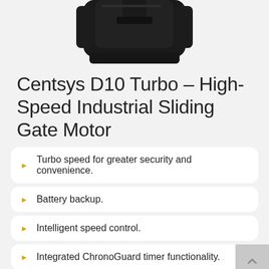[Figure (photo): Bottom portion of a black Centsys D10 Turbo industrial sliding gate motor device against a light gray background]
Centsys D10 Turbo – High-Speed Industrial Sliding Gate Motor
Turbo speed for greater security and convenience.
Battery backup.
Intelligent speed control.
Integrated ChronoGuard timer functionality.